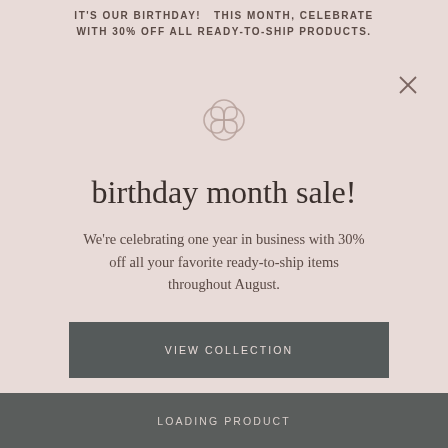IT'S OUR BIRTHDAY!   THIS MONTH, CELEBRATE WITH 30% OFF ALL READY-TO-SHIP PRODUCTS.
[Figure (logo): Decorative interlocking knot / floral logo mark in rose-gold outline style]
birthday month sale!
We're celebrating one year in business with 30% off all your favorite ready-to-ship items throughout August.
VIEW COLLECTION
LOADING PRODUCT